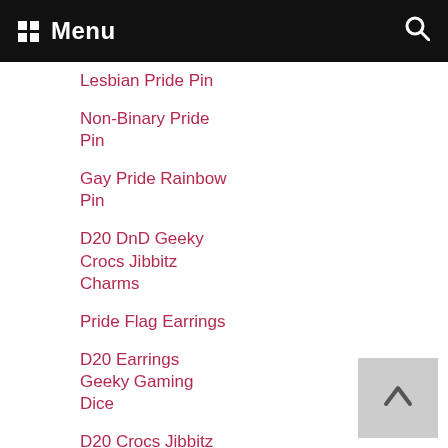Menu
Lesbian Pride Pin
Non-Binary Pride Pin
Gay Pride Rainbow Pin
D20 DnD Geeky Crocs Jibbitz Charms
Pride Flag Earrings
D20 Earrings Geeky Gaming Dice
D20 Crocs Jibbitz Charms Geeky Gaming Dice
Protest Texas Abortion Ban Pin
Protect Texas Trans Kids Pin